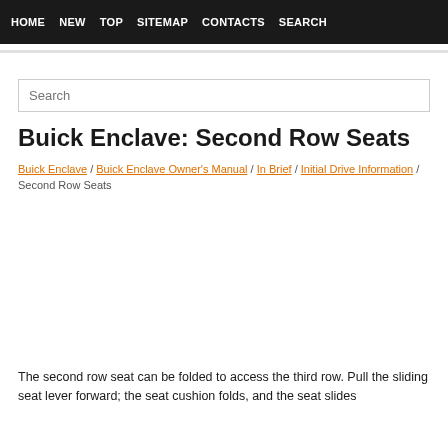HOME  NEW  TOP  SITEMAP  CONTACTS  SEARCH
Buick Enclave: Second Row Seats
Buick Enclave / Buick Enclave Owner's Manual / In Brief / Initial Drive Information / Second Row Seats
[Figure (other): Advertisement or image placeholder area (blank white space)]
The second row seat can be folded to access the third row. Pull the sliding seat lever forward; the seat cushion folds, and the seat slides